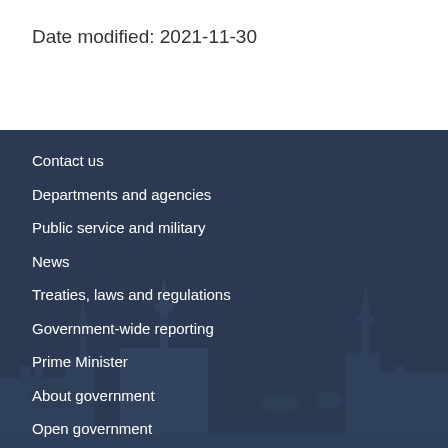Date modified: 2021-11-30
Contact us
Departments and agencies
Public service and military
News
Treaties, laws and regulations
Government-wide reporting
Prime Minister
About government
Open government